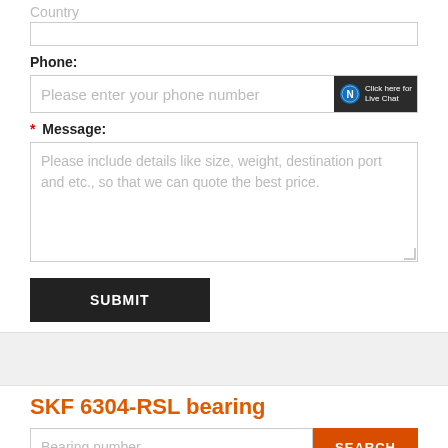Country
Phone:
Please enter your phone number
* Message:
Please include details like size, weight, destination port and etc., so that we can quote the best price.
SUBMIT
SKF 6304-RSL bearing
Bearing number..
SEARCH